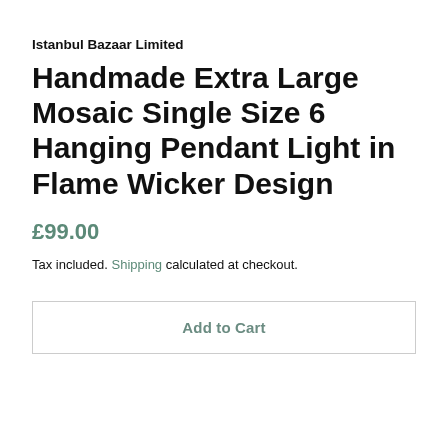Istanbul Bazaar Limited
Handmade Extra Large Mosaic Single Size 6 Hanging Pendant Light in Flame Wicker Design
£99.00
Tax included. Shipping calculated at checkout.
Add to Cart